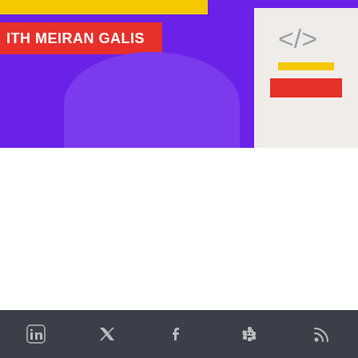[Figure (illustration): Purple hero banner with 'AUTOMATING COMPLIANCE' text at top, 'ITH MEIRAN GALIS' in red/white bar on left, decorative blob shape, and a light-colored right panel with code brackets icon, yellow stripe, and red box]
PODCAST
Automating compliance with Meiran Galis, Scytale
In this episode, we’re joined by Meiran Galis, CEO and Co-founder at Scytale AI, and a tactical leader in the realm of security compliance. Meiran has helped hundreds of high-profile SaaS companies build compliance programs for rapidly growing organizations....
LinkedIn, Twitter, Facebook, Slack, RSS icons